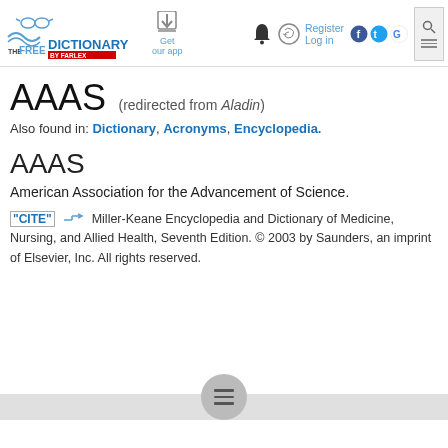The Free Dictionary by Farlex — Get our app — Register — Log in
AAAS (redirected from Aladin)
Also found in: Dictionary, Acronyms, Encyclopedia.
AAAS
American Association for the Advancement of Science.
"CITE" Miller-Keane Encyclopedia and Dictionary of Medicine, Nursing, and Allied Health, Seventh Edition. © 2003 by Saunders, an imprint of Elsevier, Inc. All rights reserved.